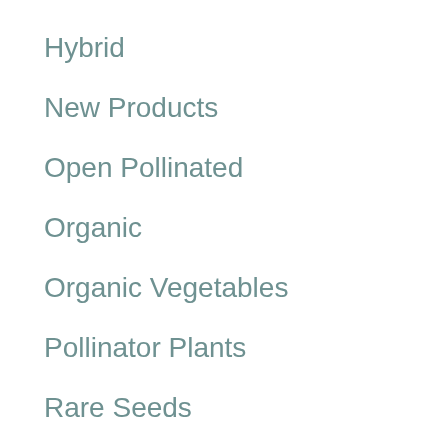Hybrid
New Products
Open Pollinated
Organic
Organic Vegetables
Pollinator Plants
Rare Seeds
Root Vegetables
Seed Mixes
Spring Gardening
Summer Gardening